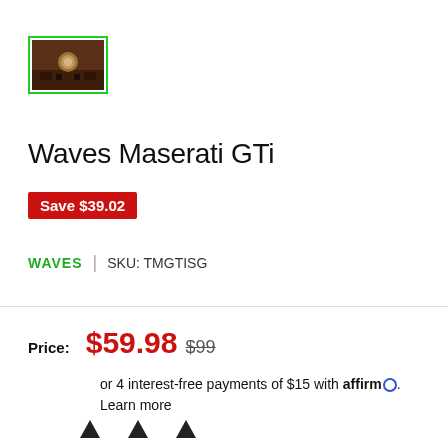[Figure (photo): Thumbnail image of Waves Maserati GTi plugin UI showing a dashboard/console in warm brown tones, with a green border around it]
Waves Maserati GTi
Save $39.02
WAVES | SKU: TMGTISG
Price: $59.98  $99
or 4 interest-free payments of $15 with affirm. Learn more